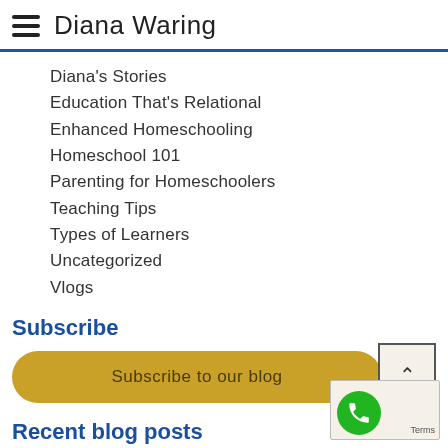Diana Waring
Diana's Stories
Education That's Relational
Enhanced Homeschooling
Homeschool 101
Parenting for Homeschoolers
Teaching Tips
Types of Learners
Uncategorized
Vlogs
Subscribe
Subscribe to our blog
Recent blog posts
Eyes to See